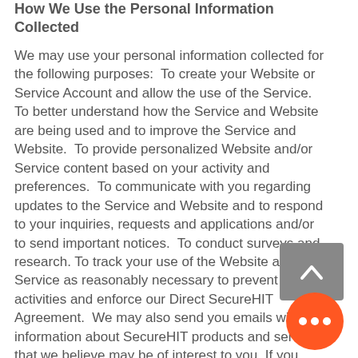How We Use the Personal Information Collected
We may use your personal information collected for the following purposes:  To create your Website or Service Account and allow the use of the Service.  To better understand how the Service and Website are being used and to improve the Service and Website.  To provide personalized Website and/or Service content based on your activity and preferences.  To communicate with you regarding updates to the Service and Website and to respond to your inquiries, requests and applications and/or to send important notices.  To conduct surveys and research. To track your use of the Website and Service as reasonably necessary to prevent illegal activities and enforce our Direct SecureHIT Agreement.  We may also send you emails with information about SecureHIT products and services that we believe may be of interest to you. If you wish to opt-out of receiving these emails from us, please follow the instructions contained in that email.